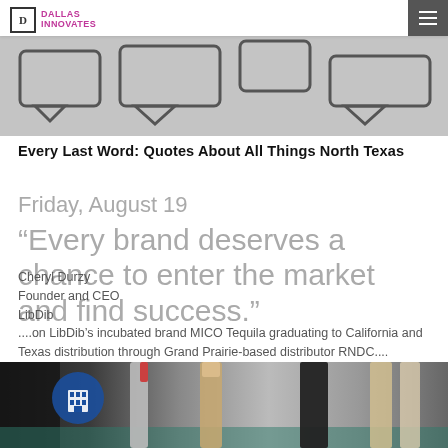Dallas Innovates
[Figure (illustration): Decorative banner with chat bubble / speech bubble shapes in gray tones]
Every Last Word: Quotes About All Things North Texas
Friday, August 19
“Every brand deserves a chance to enter the market and find success.”
Cheryl Durzy
Founder and CEO
LibDib
....on LibDib’s incubated brand MICO Tequila graduating to California and Texas distribution through Grand Prairie-based distributor RNDC....
[Figure (photo): Photo of bottles of alcohol/spirits with blurred background, close-up of bottle tops and corks]